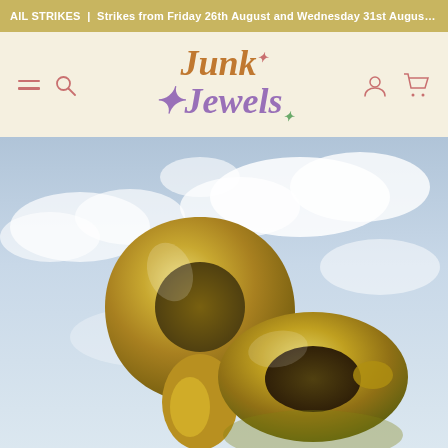AIL STRIKES | Strikes from Friday 26th August and Wednesday 31st August
[Figure (logo): Junk Jewels logo with colorful retro font in gold/orange (Junk) and purple (Jewels)]
[Figure (photo): Two chunky gold hoop earrings photographed against a blue sky and clouds background. One earring shown upright, one shown lying flat/sideways.]